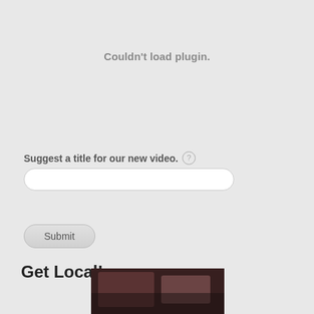Couldn't load plugin.
Suggest a title for our new video.
Submit
Get Local!
[Figure (photo): Partial image visible at bottom of page, appears to be a photo with dark content]